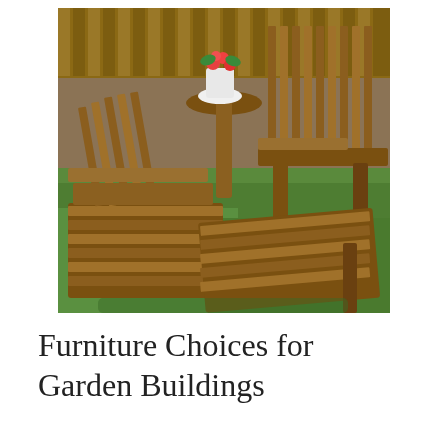[Figure (photo): Outdoor wooden Adirondack chairs with footrests and a small round side table on green grass, with a wooden fence in the background and a potted plant with red flowers on the table.]
Furniture Choices for Garden Buildings